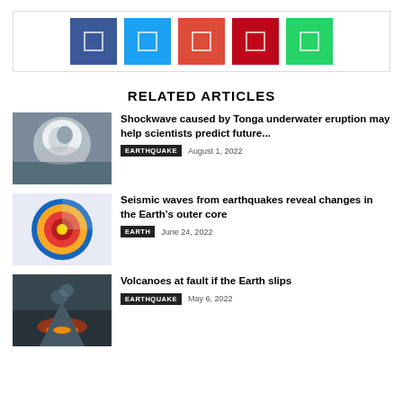[Figure (infographic): Social share buttons: Facebook (blue), Twitter (light blue), Google+ (orange-red), Pinterest (red), WhatsApp (green)]
RELATED ARTICLES
[Figure (photo): Aerial satellite view of Tonga underwater volcanic eruption with white ash cloud]
Shockwave caused by Tonga underwater eruption may help scientists predict future...
EARTHQUAKE   August 1, 2022
[Figure (illustration): Cross-section diagram of Earth showing inner core, outer core, mantle and crust layers]
Seismic waves from earthquakes reveal changes in the Earth's outer core
EARTH   June 24, 2022
[Figure (photo): Volcano eruption at night/dusk with orange glow and smoke]
Volcanoes at fault if the Earth slips